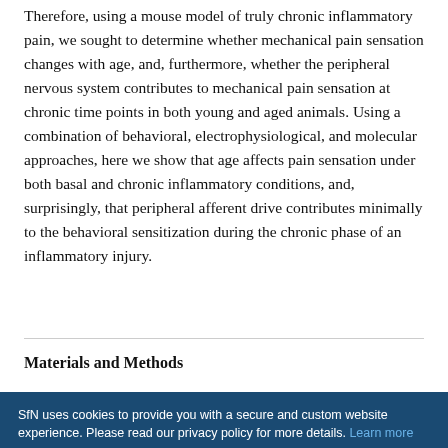Therefore, using a mouse model of truly chronic inflammatory pain, we sought to determine whether mechanical pain sensation changes with age, and, furthermore, whether the peripheral nervous system contributes to mechanical pain sensation at chronic time points in both young and aged animals. Using a combination of behavioral, electrophysiological, and molecular approaches, here we show that age affects pain sensation under both basal and chronic inflammatory conditions, and, surprisingly, that peripheral afferent drive contributes minimally to the behavioral sensitization during the chronic phase of an inflammatory injury.
Materials and Methods
SfN uses cookies to provide you with a secure and custom website experience. Please read our privacy policy for more details. Learn more